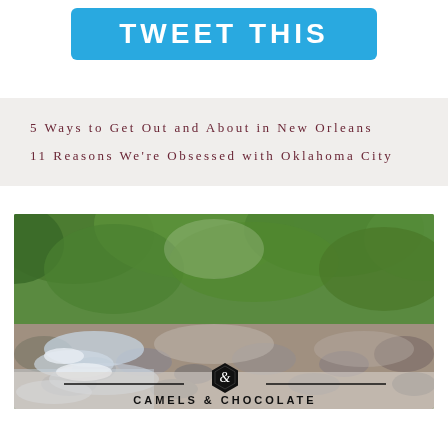[Figure (other): Blue 'TWEET THIS' button with rounded corners on white background]
5 Ways to Get Out and About in New Orleans
11 Reasons We're Obsessed with Oklahoma City
[Figure (photo): Rocky stream with flowing water and lush green forest canopy. At the bottom center, a black hexagon logo with an ampersand symbol and the text 'CAMELS & CHOCOLATE' below it, flanked by horizontal lines.]